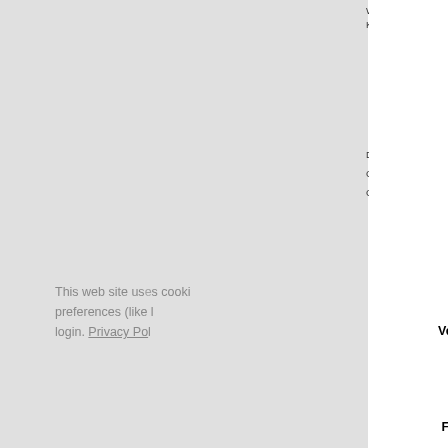Eintrags:
Dokumentart: Konferenzbeitrag (Vortrag)
Zusätzliche Informationen: LIDO-Berichtsjahr=1993,
Titel: Matched Combined Channel Coding and Modulation to the Hierarchical TV Source Coding Scheme
| Autoren | Autoren-ORCID-iD |
| --- | --- |
| Fazel, K. |  |
Datum: 1993
Open Access: Nein
In SCOPUS: Nein
In ISI Web of Science: Nein
Veranstaltungstitel: 6th Tirrenia Intern. Workshop on Digital Communications Tirrenia, Italy, 5.-9.9.93
DLR - Schwerpunkt: NICHT SPEZIFIZIERT
DLR - Forschungsgebiet: W KN - Kommunikation/Navigation
Standort: Oberpfaffenhofen
Institute &: Institut für Kommunikation